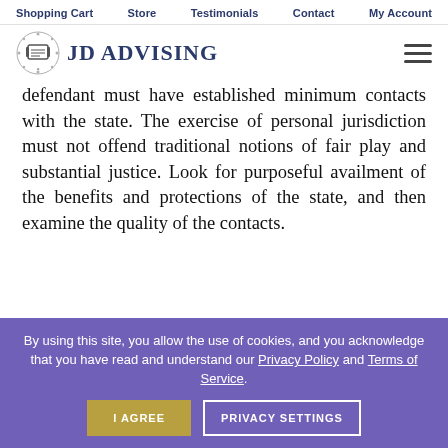Shopping Cart   Store   Testimonials   Contact   My Account
[Figure (logo): JD Advising logo with diploma/scroll icon and text 'JD ADVISING']
defendant must have established minimum contacts with the state. The exercise of personal jurisdiction must not offend traditional notions of fair play and substantial justice. Look for purposeful availment of the benefits and protections of the state, and then examine the quality of the contacts.
By using this site, you allow the use of cookies, and you acknowledge that you have read and understand our Privacy Policy and Terms of Service.
I AGREE   PRIVACY SETTINGS